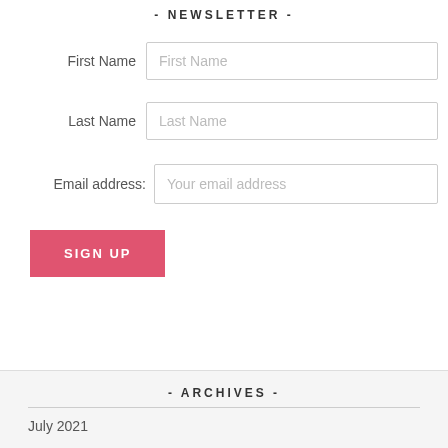- NEWSLETTER -
First Name
Last Name
Email address:
SIGN UP
- ARCHIVES -
July 2021